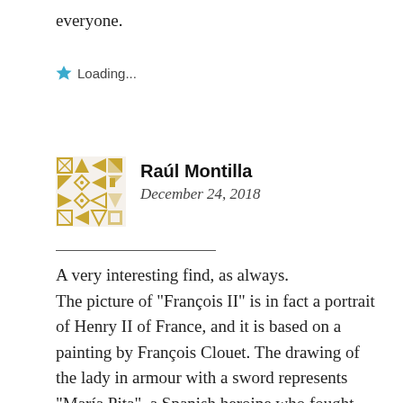everyone.
Loading...
Raúl Montilla
December 24, 2018
A very interesting find, as always.
The picture of “François II” is in fact a portrait of Henry II of France, and it is based on a painting by François Clouet. The drawing of the lady in armour with a sword represents “María Pita”, a Spanish heroine who fought against the English when they tried to invade Spain back in the late sixteenth century. The